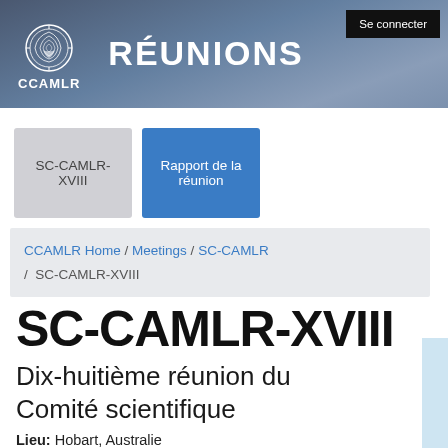CCAMLR RÉUNIONS
Se connecter
SC-CAMLR-XVIII
Rapport de la réunion
CCAMLR Home / Meetings / SC-CAMLR / SC-CAMLR-XVIII
SC-CAMLR-XVIII
Dix-huitième réunion du Comité scientifique
Lieu: Hobart, Australie